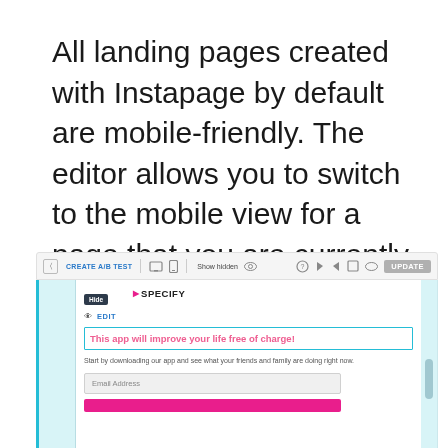All landing pages created with Instapage by default are mobile-friendly. The editor allows you to switch to the mobile view for a page that you are currently working on. This will allow you make changes that only you and mobile users can see.
[Figure (screenshot): Screenshot of Instapage editor toolbar and mobile editor view showing a landing page with headline 'This app will improve your life free of charge!', subtext, email field, and CTA button. Toolbar shows CREATE A/B TEST, device toggle, Show hidden options, and UPDATE button.]